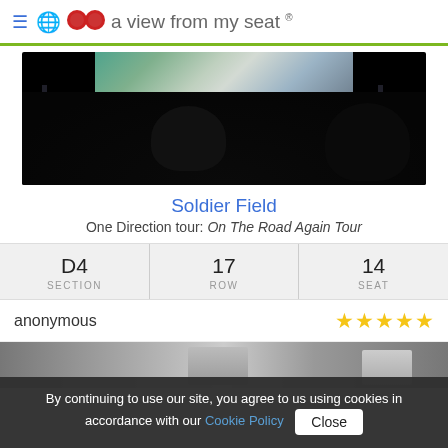a view from my seat ®
[Figure (photo): Concert photo showing a stage with bright LED screen and crowd silhouettes in the foreground at Soldier Field]
Soldier Field
One Direction tour: On The Road Again Tour
| SECTION | ROW | SEAT |
| --- | --- | --- |
| D4 | 17 | 14 |
anonymous ★★★★★
[Figure (photo): Partial view of stadium structure]
By continuing to use our site, you agree to us using cookies in accordance with our Cookie Policy  Close